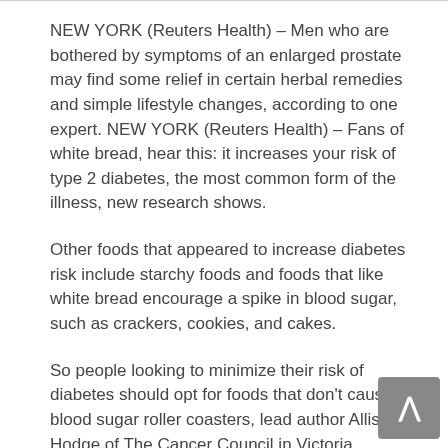NEW YORK (Reuters Health) – Men who are bothered by symptoms of an enlarged prostate may find some relief in certain herbal remedies and simple lifestyle changes, according to one expert. NEW YORK (Reuters Health) – Fans of white bread, hear this: it increases your risk of type 2 diabetes, the most common form of the illness, new research shows.
Other foods that appeared to increase diabetes risk include starchy foods and foods that like white bread encourage a spike in blood sugar, such as crackers, cookies, and cakes.
So people looking to minimize their risk of diabetes should opt for foods that don't cause blood sugar roller coasters, lead author Allison Hodge of The Cancer Council in Victoria, Australia, told Reuters Health. These foods include vegetables, fruit, and multi-grain breads, she said.
Hodge explained that she and her colleagues measured a food's effect on blood sugar levels according to its glycemic index (GI), a term that only applies to carbohydrates. High-GI foods tend to cause a big increase in blood sugar, while low-GI foods have a modest effect on blood sugar.